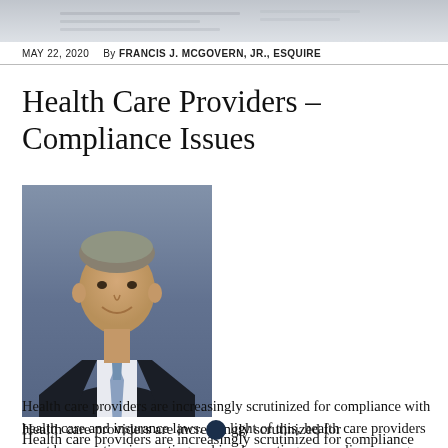[Figure (photo): Blurred/partial document image at top of page serving as header banner]
MAY 22, 2020   By FRANCIS J. MCGOVERN, JR., ESQUIRE
Health Care Providers – Compliance Issues
[Figure (photo): Professional headshot of Francis J. McGovern Jr., a middle-aged man in a dark suit with a blue tie, against a blue-grey background]
Health care providers are increasingly scrutinized for compliance with health care and insurance laws. In light of this, health care providers must be proactive in creating and implementing a compliance program